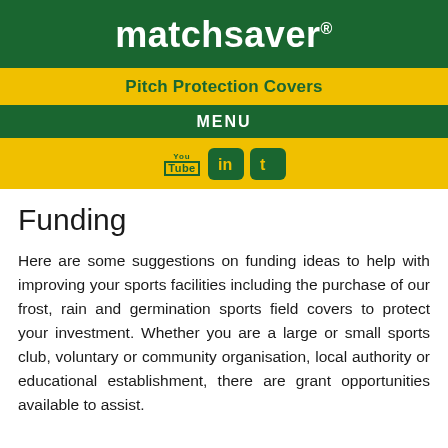matchsaver®
Pitch Protection Covers
MENU
Funding
Here are some suggestions on funding ideas to help with improving your sports facilities including the purchase of our frost, rain and germination sports field covers to protect your investment. Whether you are a large or small sports club, voluntary or community organisation, local authority or educational establishment, there are grant opportunities available to assist.